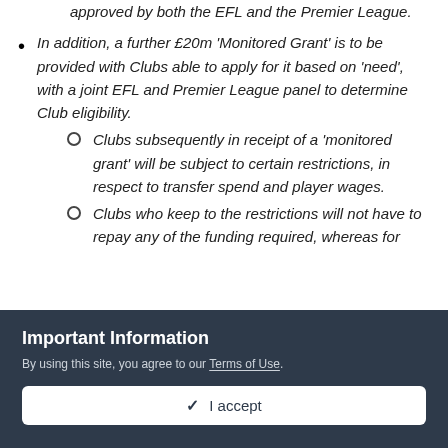approved by both the EFL and the Premier League.
In addition, a further £20m 'Monitored Grant' is to be provided with Clubs able to apply for it based on 'need', with a joint EFL and Premier League panel to determine Club eligibility.
Clubs subsequently in receipt of a 'monitored grant' will be subject to certain restrictions, in respect to transfer spend and player wages.
Clubs who keep to the restrictions will not have to repay any of the funding required, whereas for
Important Information
By using this site, you agree to our Terms of Use.
✓  I accept